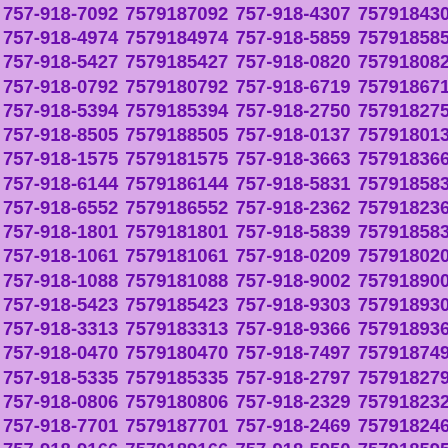757-918-7092 7579187092 757-918-4307 7579184307 757-918-4974 7579184974 757-918-5859 7579185859 757-918-5427 7579185427 757-918-0820 7579180820 757-918-0792 7579180792 757-918-6719 7579186719 757-918-5394 7579185394 757-918-2750 7579182750 757-918-8505 7579188505 757-918-0137 7579180137 757-918-1575 7579181575 757-918-3663 7579183663 757-918-6144 7579186144 757-918-5831 7579185831 757-918-6552 7579186552 757-918-2362 7579182362 757-918-1801 7579181801 757-918-5839 7579185839 757-918-1061 7579181061 757-918-0209 7579180209 757-918-1088 7579181088 757-918-9002 7579189002 757-918-5423 7579185423 757-918-9303 7579189303 757-918-3313 7579183313 757-918-9366 7579189366 757-918-0470 7579180470 757-918-7497 7579187497 757-918-5335 7579185335 757-918-2797 7579182797 757-918-0806 7579180806 757-918-2329 7579182329 757-918-7701 7579187701 757-918-2469 7579182469 757-918-9166 7579189166 757-918-5950 7579185950 757-918-0891 7579180891 757-918-2025 7579182025 757-918-6794 7579186794 757-918-5956 7579185956